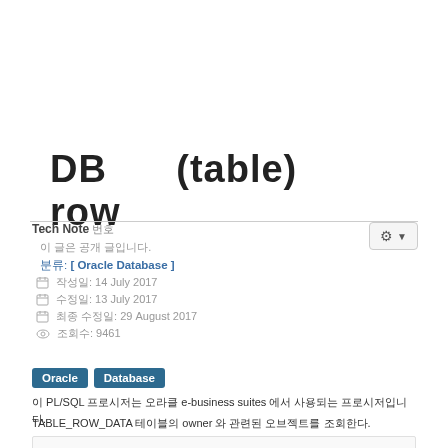DB (table) row
Tech Note 번호
이 글은 공개 글입니다.
분류: [ Oracle Database ]
작성일: 14 July 2017
수정일: 13 July 2017
최종 수정일: 29 August 2017
조회수: 9461
Oracle Database
이 PL/SQL 프로시저는 오라클 e-business suites 에서 사용되는 프로시저입니다.
TABLE_ROW_DATA 테이블의 owner 와 관련된 오브젝트를 조회한다.